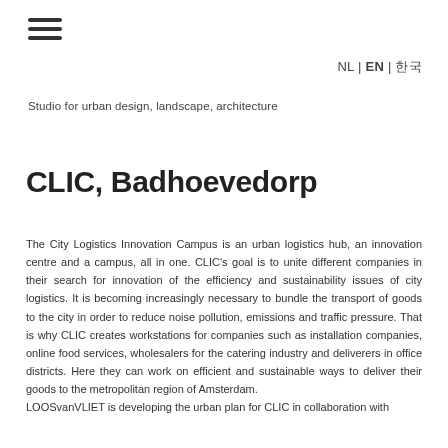[Figure (other): Hamburger menu icon with three horizontal lines]
NL | EN | 한국어
Studio for urban design, landscape, architecture
CLIC, Badhoevedorp
The City Logistics Innovation Campus is an urban logistics hub, an innovation centre and a campus, all in one. CLIC's goal is to unite different companies in their search for innovation of the efficiency and sustainability issues of city logistics. It is becoming increasingly necessary to bundle the transport of goods to the city in order to reduce noise pollution, emissions and traffic pressure. That is why CLIC creates workstations for companies such as installation companies, online food services, wholesalers for the catering industry and deliverers in office districts. Here they can work on efficient and sustainable ways to deliver their goods to the metropolitan region of Amsterdam.
LOOSvanVLIET is developing the urban plan for CLIC in collaboration with